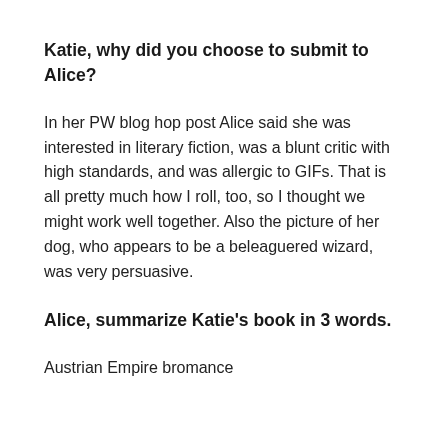Katie, why did you choose to submit to Alice?
In her PW blog hop post Alice said she was interested in literary fiction, was a blunt critic with high standards, and was allergic to GIFs. That is all pretty much how I roll, too, so I thought we might work well together. Also the picture of her dog, who appears to be a beleaguered wizard, was very persuasive.
Alice, summarize Katie's book in 3 words.
Austrian Empire bromance